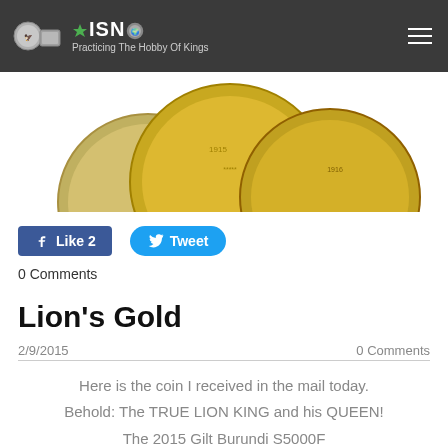ISN - Practicing The Hobby Of Kings
[Figure (photo): Gold coins partially visible at the top of the page, showing multiple overlapping gold coins]
[Figure (infographic): Facebook Like button showing 'Like 2' and Twitter Tweet button]
0 Comments
Lion's Gold
2/9/2015   0 Comments
Here is the coin I received in the mail today. Behold: The TRUE LION KING and his QUEEN! The 2015 Gilt Burundi S5000F African Lion Early Releases